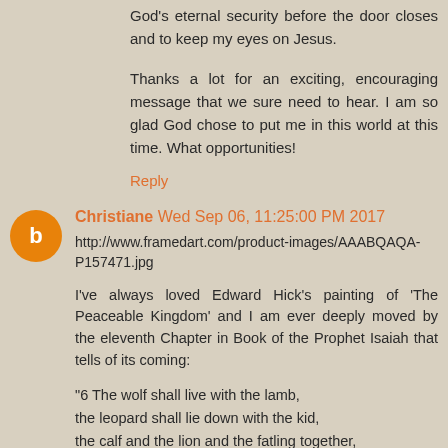God's eternal security before the door closes and to keep my eyes on Jesus.
Thanks a lot for an exciting, encouraging message that we sure need to hear. I am so glad God chose to put me in this world at this time. What opportunities!
Reply
Christiane  Wed Sep 06, 11:25:00 PM 2017
http://www.framedart.com/product-images/AAABQAQA-P157471.jpg
I've always loved Edward Hick's painting of 'The Peaceable Kingdom' and I am ever deeply moved by the eleventh Chapter in Book of the Prophet Isaiah that tells of its coming:
"6 The wolf shall live with the lamb,
the leopard shall lie down with the kid,
the calf and the lion and the fatling together,
and a little child shall lead them.